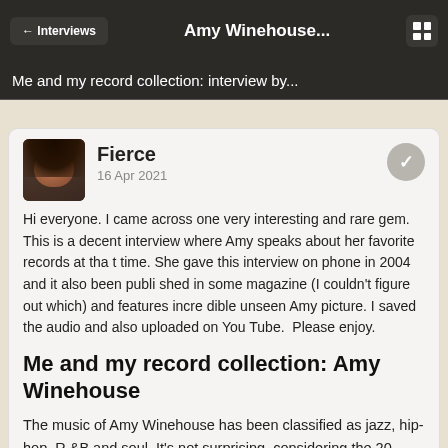← Interviews   Amy Winehouse...
Me and my record collection: interview by...
Fierce
16 Apr 2021
Hi everyone. I came across one very interesting and rare gem. This is a decent interview where Amy speaks about her favorite records at that time. She gave this interview on phone in 2004 and it also been published in some magazine (I couldn't figure out which) and features incredible unseen Amy picture. I saved the audio and also uploaded on YouTube.  Please enjoy.
Me and my record collection: Amy Winehouse
The music of Amy Winehouse has been classified as jazz, hip-hop, R&B and soul. It's not surprising, considering the 20-year-old's taste in music. "I'm a fascist when it comes to music", she says. "I don't have broad taste and i don't listen to any pop, folk or country. i listen to groo